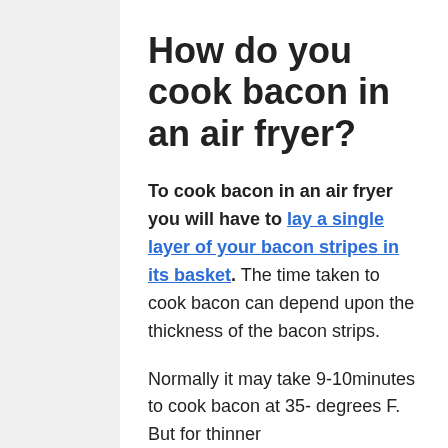How do you cook bacon in an air fryer?
To cook bacon in an air fryer you will have to lay a single layer of your bacon stripes in its basket. The time taken to cook bacon can depend upon the thickness of the bacon strips.
Normally it may take 9-10minutes to cook bacon at 35- degrees F. But for thinner